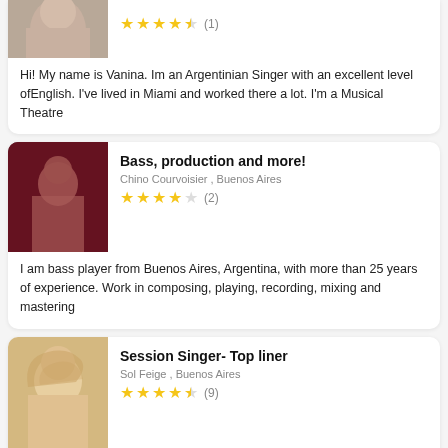[Figure (photo): Profile photo of Vanina, partial view showing face and dark hair]
[Figure (infographic): Star rating: 4.5 stars (1 review)]
Hi! My name is Vanina. Im an Argentinian Singer with an excellent level ofEnglish. I've lived in Miami and worked there a lot. I'm a Musical Theatre
[Figure (photo): Profile photo of Chino Courvoisier performing on stage with red lighting]
Bass, production and more!
Chino Courvoisier , Buenos Aires
[Figure (infographic): Star rating: 4 stars (2 reviews)]
I am bass player from Buenos Aires, Argentina, with more than 25 years of experience. Work in composing, playing, recording, mixing and mastering
[Figure (photo): Profile photo of Sol Feige, blonde woman]
Session Singer- Top liner
Sol Feige , Buenos Aires
[Figure (infographic): Star rating: 4.5 stars (9 reviews)]
Hi, Im Sol! I'm a bilingual session singer- songwriter with more than 10 years of experience who works on the R&B / Soul scene with the best established